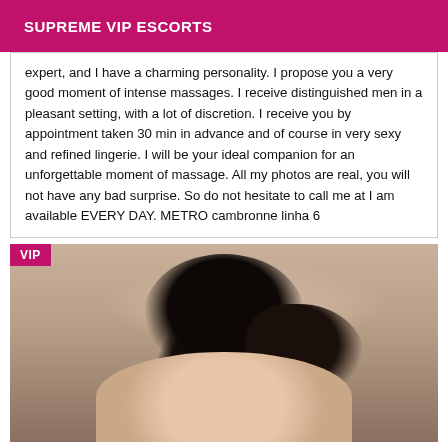SUPREME VIP ESCORTS
expert, and I have a charming personality. I propose you a very good moment of intense massages. I receive distinguished men in a pleasant setting, with a lot of discretion. I receive you by appointment taken 30 min in advance and of course in very sexy and refined lingerie. I will be your ideal companion for an unforgettable moment of massage. All my photos are real, you will not have any bad surprise. So do not hesitate to call me at I am available EVERY DAY. METRO cambronne linha 6
[Figure (photo): Photo of a person with dark hair viewed from above/behind, with a VIP badge in top-left corner]